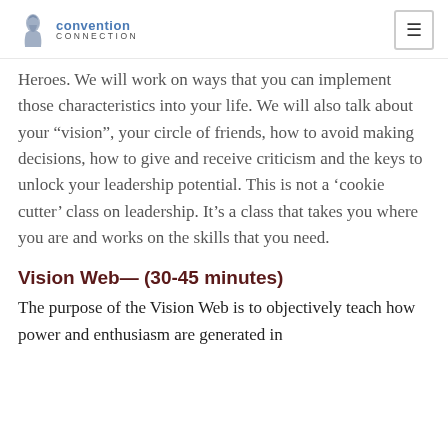convention connection (logo with hamburger menu)
Heroes. We will work on ways that you can implement those characteristics into your life. We will also talk about your “vision”, your circle of friends, how to avoid making decisions, how to give and receive criticism and the keys to unlock your leadership potential. This is not a ‘cookie cutter’ class on leadership. It’s a class that takes you where you are and works on the skills that you need.
Vision Web— (30-45 minutes)
The purpose of the Vision Web is to objectively teach how power and enthusiasm are generated in